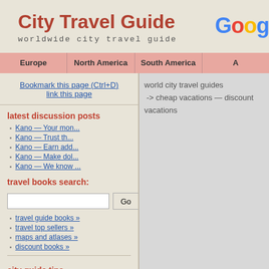City Travel Guide
worldwide city travel guide
Europe | North America | South America | A
Bookmark this page (Ctrl+D)
link this page
world city travel guides
-> cheap vacations — discount vacations
latest discussion posts
Kano — Your mon...
Kano — Trust th...
Kano — Earn add...
Kano — Make dol...
Kano — We know ...
travel books search:
travel guide books »
travel top sellers »
maps and atlases »
discount books »
city guide tips
Hamheung travel guide
Kamnik travel guide
Abashiri travel guide